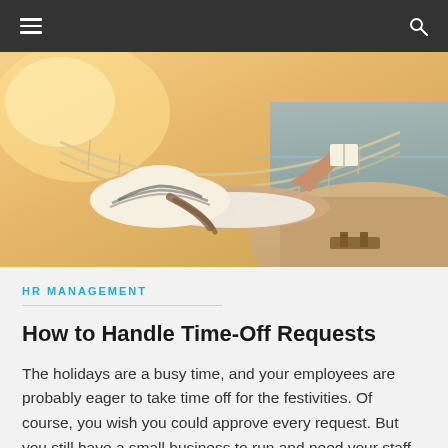≡  🔍
[Figure (photo): A woman lying in a hammock on a beach, wearing a wide-brimmed striped hat and reading a book. The beach and water are visible in the background with warm sunlight.]
HR MANAGEMENT
How to Handle Time-Off Requests
The holidays are a busy time, and your employees are probably eager to take time off for the festivities. Of course, you wish you could approve every request. But you still have a small business to run and need your staff to be productive (and